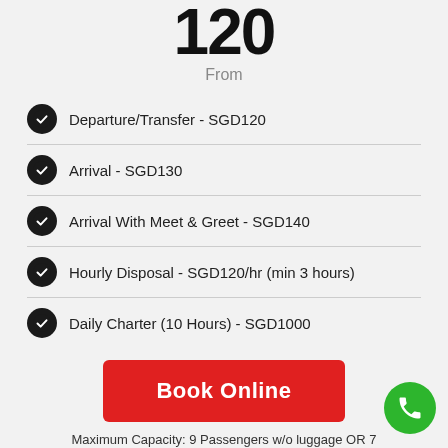120
From
Departure/Transfer - SGD120
Arrival - SGD130
Arrival With Meet & Greet - SGD140
Hourly Disposal - SGD120/hr (min 3 hours)
Daily Charter (10 Hours) - SGD1000
Book Online
Maximum Capacity: 9 Passengers w/o luggage OR 7 Passengers + 9 Luggage